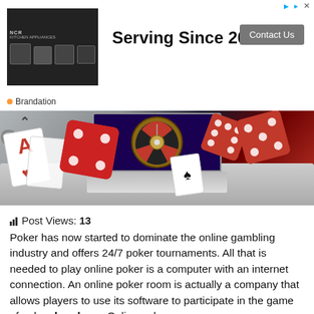[Figure (screenshot): Advertisement banner: black and white kitchen appliances image on left, bold text 'Serving Since 2012' in center, grey 'Contact Us' button on right, 'Brandation' label at bottom left with orange dot.]
[Figure (photo): Casino-themed banner image showing a laptop with roulette wheel, playing cards including an Ace of Hearts, and multiple red dice, on a keyboard background.]
Post Views: 13
Poker has now started to dominate the online gambling industry and offers 24/7 poker tournaments. All that is needed to play online poker is a computer with an internet connection. An online poker room is actually a company that allows players to use its software to participate in the game of poker. bandarqq Online poker